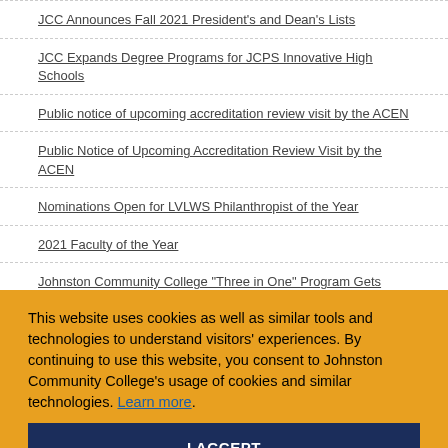JCC Announces Fall 2021 President's and Dean's Lists
JCC Expands Degree Programs for JCPS Innovative High Schools
Public notice of upcoming accreditation review visit by the ACEN
Public Notice of Upcoming Accreditation Review Visit by the ACEN
Nominations Open for LVLWS Philanthropist of the Year
2021 Faculty of the Year
Johnston Community College "Three in One" Program Gets Boost from Duke Energy Foundation
QDR Cares Blood Drive to be held on JCC Campus
JCC Awarded $635,012 Grant from National Science Foundation
This website uses cookies as well as similar tools and technologies to understand visitors' experiences. By continuing to use this website, you consent to Johnston Community College's usage of cookies and similar technologies. Learn more.
I ACCEPT